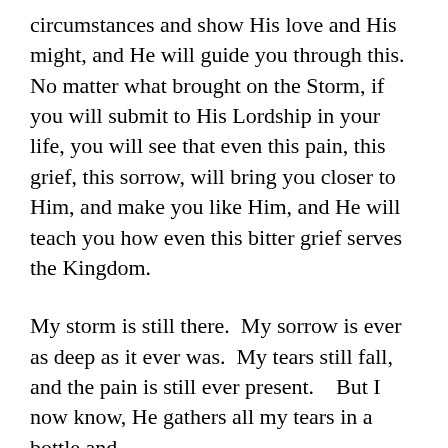circumstances and show His love and His might, and He will guide you through this. No matter what brought on the Storm, if you will submit to His Lordship in your life, you will see that even this pain, this grief, this sorrow, will bring you closer to Him, and make you like Him, and He will teach you how even this bitter grief serves the Kingdom.
My storm is still there.  My sorrow is ever as deep as it ever was.  My tears still fall, and the pain is still ever present.   But I now know, He gathers all my tears in a bottle and